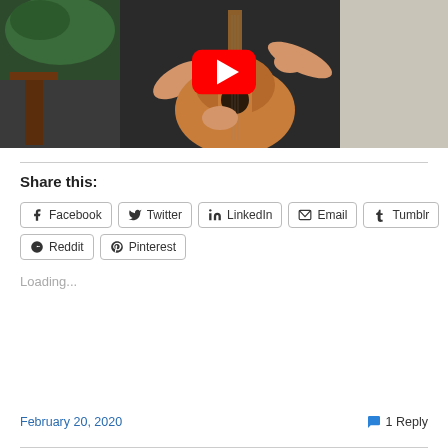[Figure (photo): YouTube video thumbnail showing a man in black clothes playing a classical guitar, with a plant and wooden stand in the background. A YouTube play button overlay is visible.]
Share this:
Facebook  Twitter  LinkedIn  Email  Tumblr  Reddit  Pinterest
Loading...
February 20, 2020
1 Reply